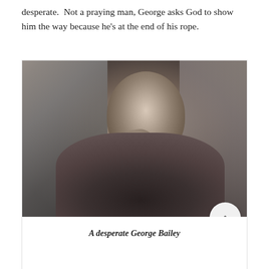desperate.  Not a praying man, George asks God to show him the way because he's at the end of his rope.
[Figure (photo): Black and white film still photograph of George Bailey (played by James Stewart), a desperate man with his hand raised near his face in a prayerful or distressed pose, wearing a suit and tie, with a blurred background.]
A desperate George Bailey